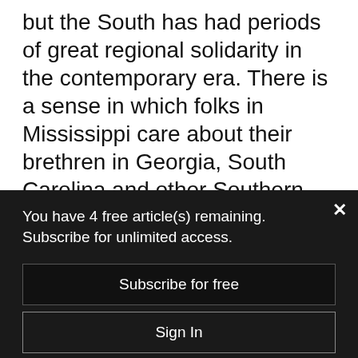but the South has had periods of great regional solidarity in the contemporary era. There is a sense in which folks in Mississippi care about their brethren in Georgia, South Carolina and other Southern states in a way that it is difficult to imagine people in Indiana caring about their counterparts in Illinois. This sense of regional identity is the fuel for
You have 4 free article(s) remaining. Subscribe for unlimited access.
Subscribe for free
Sign In